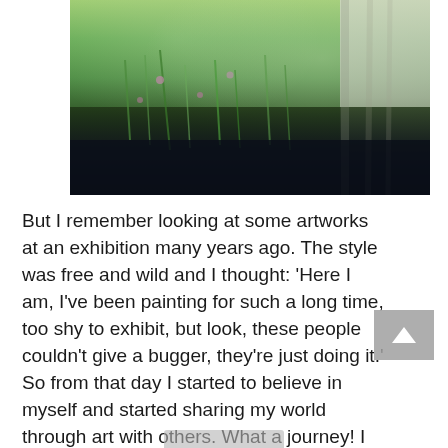[Figure (photo): A painting or photograph of a garden scene with lush green foliage, wild plants and flowers, a light-colored fence or wall on the right side, and a dark earth/shadow area at the bottom.]
But I remember looking at some artworks at an exhibition many years ago. The style was free and wild and I thought: ‘Here I am, I’ve been painting for such a long time, too shy to exhibit, but look, these people couldn’t give a bugger, they’re just doing it.’
So from that day I started to believe in myself and started sharing my world through art with others. What a journey! I